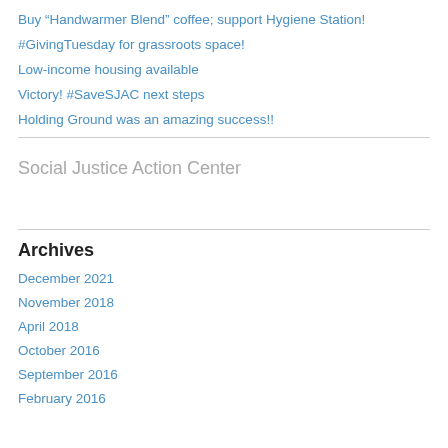Buy “Handwarmer Blend” coffee; support Hygiene Station!
#GivingTuesday for grassroots space!
Low-income housing available
Victory! #SaveSJAC next steps
Holding Ground was an amazing success!!
Social Justice Action Center
Archives
December 2021
November 2018
April 2018
October 2016
September 2016
February 2016